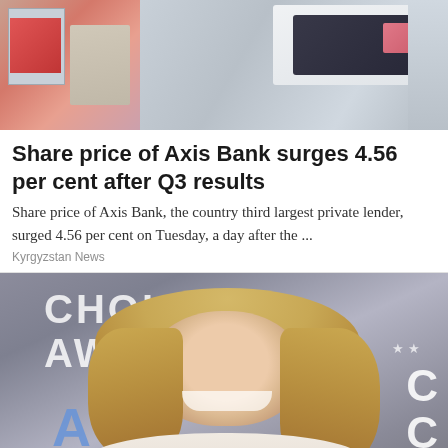[Figure (photo): Photo of bank/ATM transaction scene at top of page]
Share price of Axis Bank surges 4.56 per cent after Q3 results
Share price of Axis Bank, the country third largest private lender, surged 4.56 per cent on Tuesday, a day after the ...
Kyrgyzstan News
[Figure (photo): Photo of a smiling young blonde woman at a Choice Awards event]